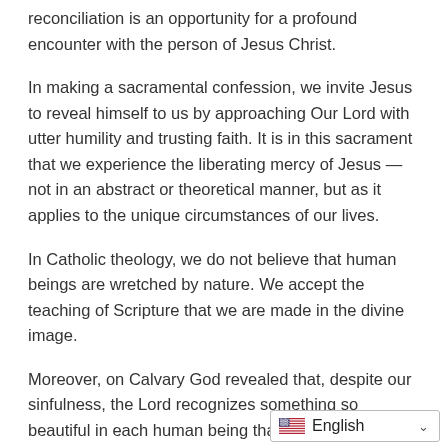reconciliation is an opportunity for a profound encounter with the person of Jesus Christ.
In making a sacramental confession, we invite Jesus to reveal himself to us by approaching Our Lord with utter humility and trusting faith. It is in this sacrament that we experience the liberating mercy of Jesus — not in an abstract or theoretical manner, but as it applies to the unique circumstances of our lives.
In Catholic theology, we do not believe that human beings are wretched by nature. We accept the teaching of Scripture that we are made in the divine image.
Moreover, on Calvary God revealed that, despite our sinfulness, the Lord recognizes something so beautiful in each human being that Jesus was willing to suffer death by crucifixion in order that we might know the depth of God's love and the wideness of his mercy.
No matter if we are a slave trad…